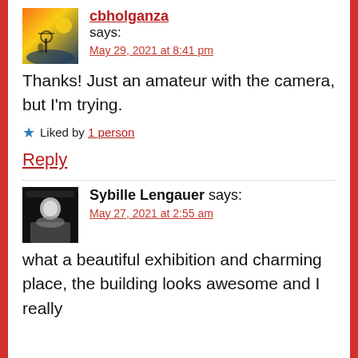cbholganza says:
May 29, 2021 at 8:41 pm
Thanks! Just an amateur with the camera, but I'm trying.
★ Liked by 1 person
Reply
Sybille Lengauer says:
May 27, 2021 at 2:55 am
what a beautiful exhibition and charming place, the building looks awesome and I really